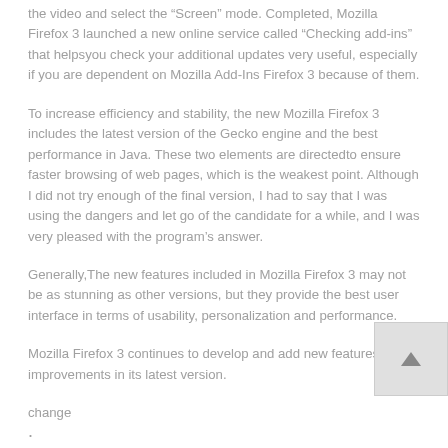the video and select the “Screen” mode. Completed, Mozilla Firefox 3 launched a new online service called “Checking add-ins” that helpsyou check your additional updates very useful, especially if you are dependent on Mozilla Add-Ins Firefox 3 because of them.
To increase efficiency and stability, the new Mozilla Firefox 3 includes the latest version of the Gecko engine and the best performance in Java. These two elements are directedto ensure faster browsing of web pages, which is the weakest point. Although I did not try enough of the final version, I had to say that I was using the dangers and let go of the candidate for a while, and I was very pleased with the program’s answer.
Generally,The new features included in Mozilla Firefox 3 may not be as stunning as other versions, but they provide the best user interface in terms of usability, personalization and performance.
Mozilla Firefox 3 continues to develop and add new featuresand improvements in its latest version.
change
.